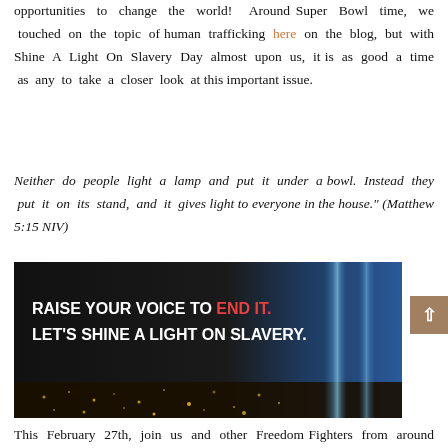opportunities to change the world! Around Super Bowl time, we touched on the topic of human trafficking here on the blog, but with Shine A Light On Slavery Day almost upon us, it is as good a time as any to take a closer look at this important issue.
Neither do people light a lamp and put it under a bowl. Instead they put it on its stand, and it gives light to everyone in the house." (Matthew 5:15 NIV)
[Figure (illustration): Dark banner image with city lights at night and a beam of blue light. Bold white text reads 'RAISE YOUR VOICE TO END IT. LET'S SHINE A LIGHT ON SLAVERY.' with 'END IT.' in red.]
This February 27th, join us and other Freedom Fighters from around the world as we shine a light on slavery. Use your influence any way you